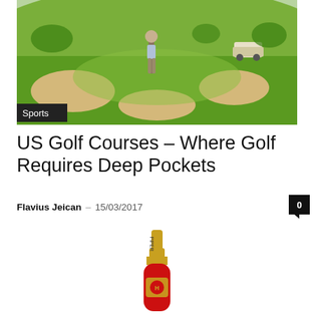[Figure (photo): Golf course photo showing a golfer walking on a green fairway with sand bunkers and golf cart in background. A dark badge reading 'Sports' is overlaid at the bottom left.]
US Golf Courses – Where Golf Requires Deep Pockets
Flavius Jeican – 15/03/2017
[Figure (photo): A red Piper champagne bottle with gold neck foil and label, shown on a white background.]